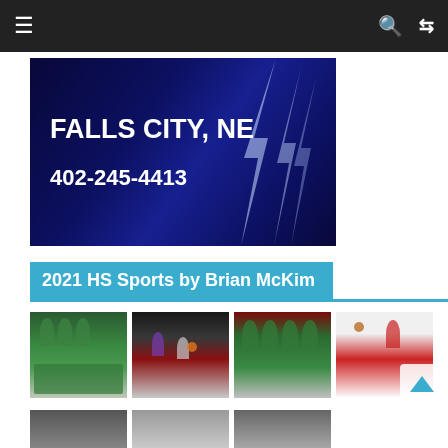Navigation bar with hamburger menu, search and shuffle icons
[Figure (photo): Advertisement banner for Falls City, NE with phone number 402-245-4413 on dark blue background with lightning bolts]
2021 HS Sports by Brian McKim
[Figure (photo): Four thumbnail photos of high school basketball games]
[Figure (photo): Partial row of additional sports thumbnails at page bottom]